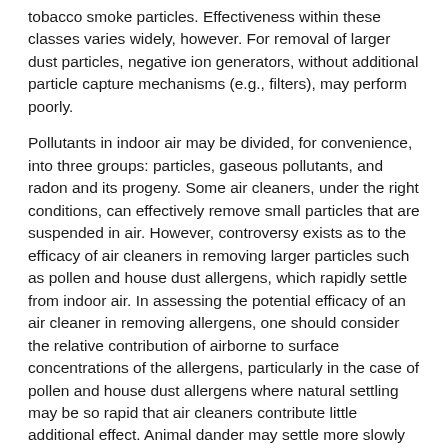tobacco smoke particles. Effectiveness within these classes varies widely, however. For removal of larger dust particles, negative ion generators, without additional particle capture mechanisms (e.g., filters), may perform poorly.
Pollutants in indoor air may be divided, for convenience, into three groups: particles, gaseous pollutants, and radon and its progeny. Some air cleaners, under the right conditions, can effectively remove small particles that are suspended in air. However, controversy exists as to the efficacy of air cleaners in removing larger particles such as pollen and house dust allergens, which rapidly settle from indoor air. In assessing the potential efficacy of an air cleaner in removing allergens, one should consider the relative contribution of airborne to surface concentrations of the allergens, particularly in the case of pollen and house dust allergens where natural settling may be so rapid that air cleaners contribute little additional effect. Animal dander may settle more slowly although, again, the surface reservoir far exceeds the amount in the air. Furthermore, control of the sources of allergens and,